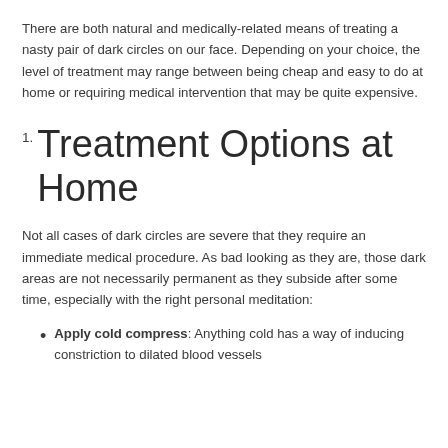There are both natural and medically-related means of treating a nasty pair of dark circles on our face. Depending on your choice, the level of treatment may range between being cheap and easy to do at home or requiring medical intervention that may be quite expensive.
1. Treatment Options at Home
Not all cases of dark circles are severe that they require an immediate medical procedure. As bad looking as they are, those dark areas are not necessarily permanent as they subside after some time, especially with the right personal meditation:
Apply cold compress: Anything cold has a way of inducing constriction to dilated blood vessels